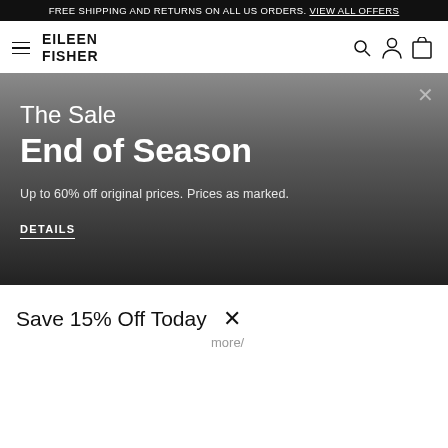FREE SHIPPING AND RETURNS ON ALL US ORDERS. VIEW ALL OFFERS
EILEEN FISHER
[Figure (infographic): Promotional hero banner with gradient background (gray to dark). Close X button top right. Text: 'The Sale / End of Season / Up to 60% off original prices. Prices as marked. / DETAILS']
Save 15% Off Today